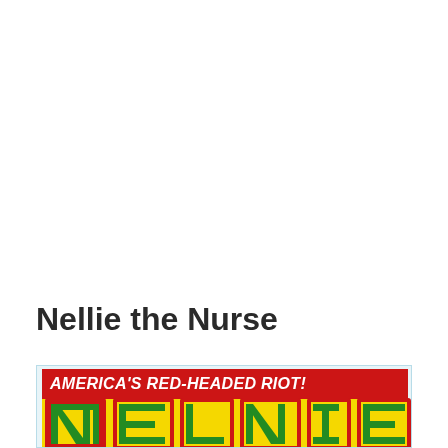Nellie the Nurse
[Figure (illustration): Comic book cover for 'Nellie the Nurse' showing a red banner at top with text 'AMERICA'S RED-HEADED RIOT!' in white italic letters, and below it a yellow background with large green outlined block letters partially visible spelling the title.]